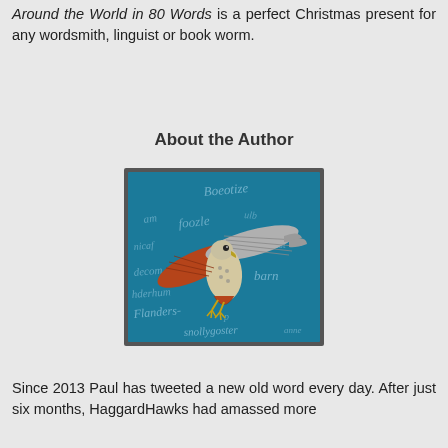Around the World in 80 Words is a perfect Christmas present for any wordsmith, linguist or book worm.
About the Author
[Figure (photo): A hawk or kestrel in flight against a teal/blue background with various words overlaid in light text, including Boeotize, foozle, scio, barn, Flanders, snollygoster, and others.]
Since 2013 Paul has tweeted a new old word every day. After just six months, HaggardHawks had amassed more